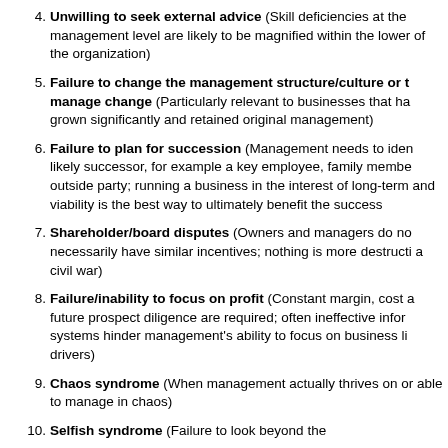4. Unwilling to seek external advice (Skill deficiencies at the management level are likely to be magnified within the lower of the organization)
5. Failure to change the management structure/culture or to manage change (Particularly relevant to businesses that have grown significantly and retained original management)
6. Failure to plan for succession (Management needs to identify a likely successor, for example a key employee, family member or outside party; running a business in the interest of long-term and viability is the best way to ultimately benefit the successor)
7. Shareholder/board disputes (Owners and managers do not necessarily have similar incentives; nothing is more destructive than a civil war)
8. Failure/inability to focus on profit (Constant margin, cost and future prospect diligence are required; often ineffective information systems hinder management's ability to focus on business line drivers)
9. Chaos syndrome (When management actually thrives on or is able to manage in chaos)
10. Selfish syndrome (Failure to look beyond the...